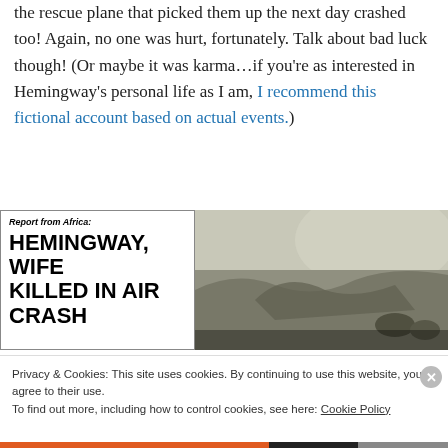the rescue plane that picked them up the next day crashed too! Again, no one was hurt, fortunately. Talk about bad luck though! (Or maybe it was karma…if you're as interested in Hemingway's personal life as I am, I recommend this fictional account based on actual events.)
[Figure (photo): Newspaper front page headline reading 'Report from Africa: HEMINGWAY, WIFE KILLED IN AIR CRASH' alongside a black and white photograph of a crashed plane in vegetation]
Privacy & Cookies: This site uses cookies. By continuing to use this website, you agree to their use.
To find out more, including how to control cookies, see here: Cookie Policy
Close and accept